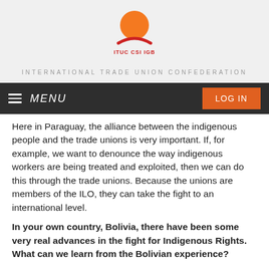[Figure (logo): ITUC CSI IGB logo with orange circle and curved red swoosh, organization name below]
INTERNATIONAL TRADE UNION CONFEDERATION
MENU  LOG IN
Here in Paraguay, the alliance between the indigenous people and the trade unions is very important. If, for example, we want to denounce the way indigenous workers are being treated and exploited, then we can do this through the trade unions. Because the unions are members of the ILO, they can take the fight to an international level.
In your own country, Bolivia, there have been some very real advances in the fight for Indigenous Rights. What can we learn from the Bolivian experience?
The exploitation that's happening here is the same as in other Developing countries. All that governments and trans-national companies want to do is to exploit indigenous lands